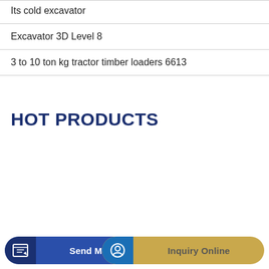Its cold excavator
Excavator 3D Level 8
3 to 10 ton kg tractor timber loaders 6613
HOT PRODUCTS
Send Message
Inquiry Online